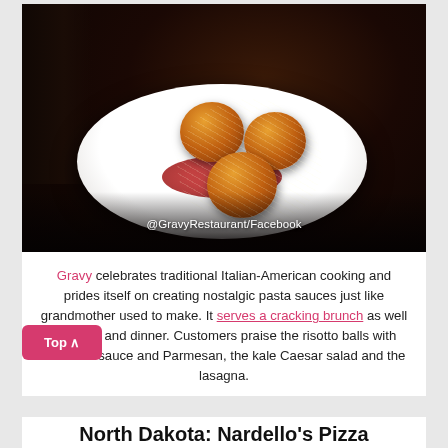[Figure (photo): Fried risotto balls (arancini) stacked on a white oval plate with marinara sauce, in a dark restaurant setting]
@GravyRestaurant/Facebook
Gravy celebrates traditional Italian-American cooking and prides itself on creating nostalgic pasta sauces just like grandmother used to make. It serves a cracking brunch as well as lunch and dinner. Customers praise the risotto balls with marinara sauce and Parmesan, the kale Caesar salad and the lasagna.
North Dakota: Nardello's Pizza